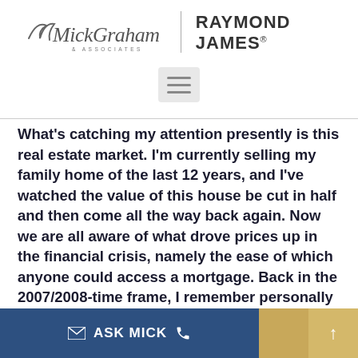Mick Graham & Associates | RAYMOND JAMES®
What's catching my attention presently is this real estate market. I'm currently selling my family home of the last 12 years, and I've watched the value of this house be cut in half and then come all the way back again. Now we are all aware of what drove prices up in the financial crisis, namely the ease of which anyone could access a mortgage. Back in the 2007/2008-time frame, I remember personally just a test that I make a certain amount of money and could afford